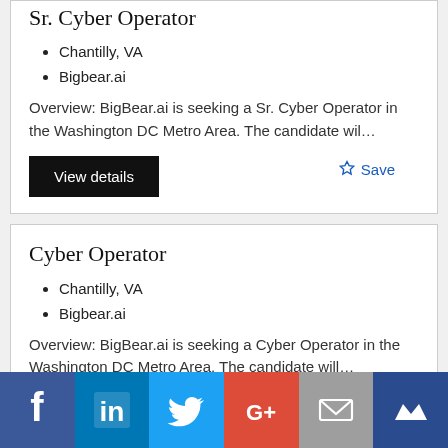Sr. Cyber Operator
Chantilly, VA
Bigbear.ai
Overview: BigBear.ai is seeking a Sr. Cyber Operator in the Washington DC Metro Area. The candidate wil…
View details
☆ Save
Cyber Operator
Chantilly, VA
Bigbear.ai
Overview: BigBear.ai is seeking a Cyber Operator in the Washington DC Metro Area. The candidate will…
[Figure (infographic): Social sharing bar with icons for Facebook, LinkedIn, Twitter, Google+, Email, and Klout]